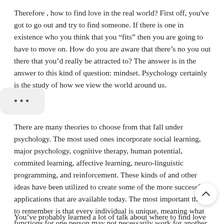Therefore , how to find love in the real world? First off, you've got to go out and try to find someone. If there is one in existence who you think that you “fits” then you are going to have to move on. How do you are aware that there’s no you out there that you’d really be attracted to? The answer is in the answer to this kind of question: mindset. Psychology certainly is the study of how we view the world around us.
There are many theories to choose from that fall under psychology. The most used ones incorporate social learning, major psychology, cognitive therapy, human potential, commited learning, affective learning, neuro-linguistic programming, and reinforcement. These kinds of and other ideas have been utilized to create some of the more successful applications that are available today. The most important thing to remember is that every individual is unique, meaning what functions for one person may not necessarily work for another.
You’ve probably learned a lot of talk about where to find love in the